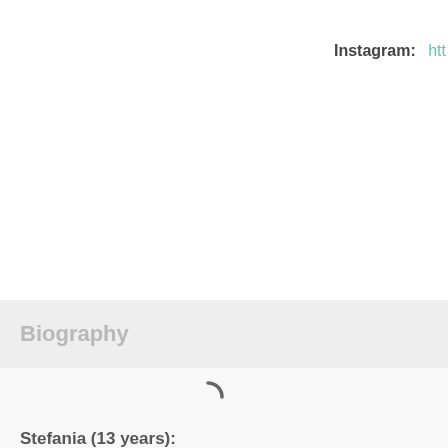Instagram: htt…
Biography
[Figure (other): Loading spinner (partial arc)]
Stefania (13 years):
Stefania has two nationalities, as their parents are Gr… brother (Georgios, 26 years old) and a sister (Nitsa, … been her participation at The Voice Kids and being p…
Ariana Grande and Justin Bieber are her favorite a… in an expression class, she can be creative and musi…